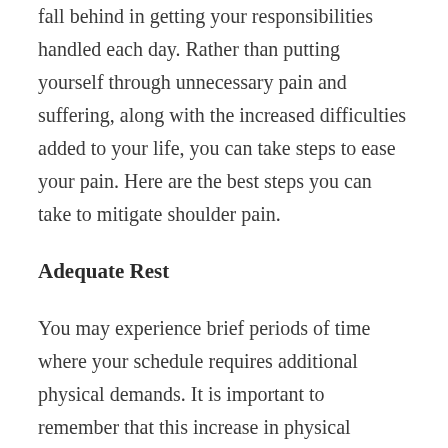fall behind in getting your responsibilities handled each day. Rather than putting yourself through unnecessary pain and suffering, along with the increased difficulties added to your life, you can take steps to ease your pain. Here are the best steps you can take to mitigate shoulder pain.
Adequate Rest
You may experience brief periods of time where your schedule requires additional physical demands. It is important to remember that this increase in physical activity can have a lasting impact. Failure to get adequate rest will prolong the healing process and possibly cause additional damage to the joint or muscle. With adequate